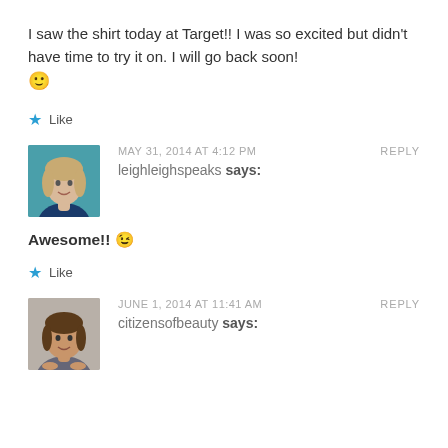I saw the shirt today at Target!! I was so excited but didn't have time to try it on. I will go back soon! 🙂
★ Like
MAY 31, 2014 AT 4:12 PM   REPLY
leighleighspeaks says:
Awesome!! 😉
★ Like
JUNE 1, 2014 AT 11:41 AM   REPLY
citizensofbeauty says: